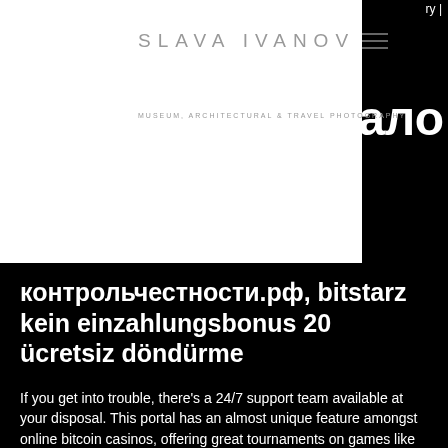SLAVA IVANOV
MUSEUM, ARCHITECTURAL & TRAVEL PHOTOGRAPHY
контрольчестности.рф, bitstarz kein einzahlungsbonus 20 ücretsiz döndürme
If you get into trouble, there's a 24/7 support team available at your disposal. This portal has an almost unique feature amongst online bitcoin casinos, offering great tournaments on games like poker for its players. There's a wide array of bonuses on offer as well, but also weekly free spins for the lucky or loyal users. If you decide on playing on Joo Casino, you can use a variety of